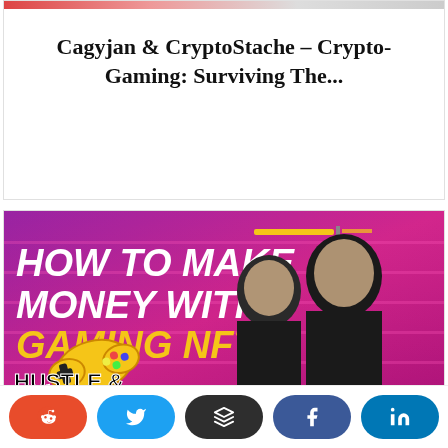Cagyjan & CryptoStache – Crypto-Gaming: Surviving The...
[Figure (photo): Thumbnail image for 'How To Make Money With Gaming NFTs' from Hustle & Flowchart podcast — purple/pink background with two men, a game controller graphic, bold white and yellow text]
How To Make Money With Gaming NFTs